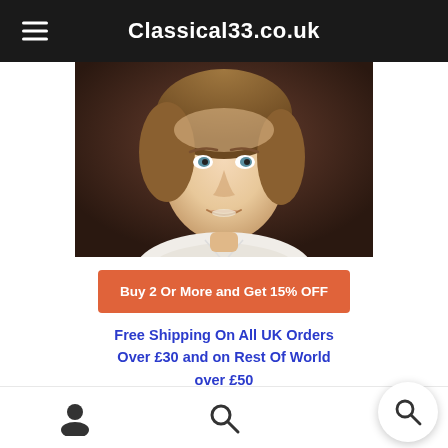Classical33.co.uk
[Figure (photo): Portrait photo of Richard Clayderman, a man with brown hair wearing a white shirt, dark background]
Buy 2 Or More and Get 15% OFF
Free Shipping On All UK Orders Over £30 and on Rest Of World over £50
Richard Clayderman – The Music Of Richard Clayderman – the Ultimate D...